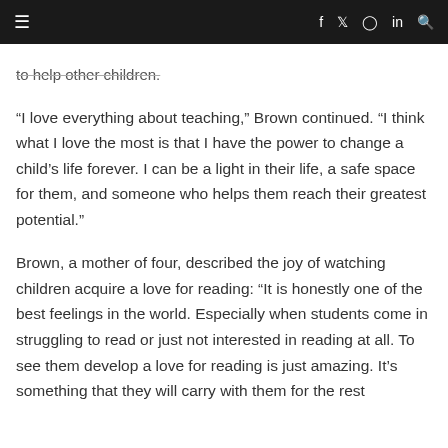≡   f  𝕏  ⊙  in  🔍
to help other children.
“I love everything about teaching,” Brown continued. “I think what I love the most is that I have the power to change a child’s life forever. I can be a light in their life, a safe space for them, and someone who helps them reach their greatest potential.”
Brown, a mother of four, described the joy of watching children acquire a love for reading: “It is honestly one of the best feelings in the world. Especially when students come in struggling to read or just not interested in reading at all. To see them develop a love for reading is just amazing. It’s something that they will carry with them for the rest